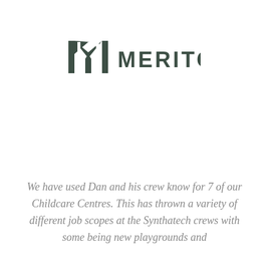[Figure (logo): Meriton logo: stylized M lettermark followed by MERITON text in dark teal/charcoal sans-serif capitals]
We have used Dan and his crew know for 7 of our Childcare Centres. This has thrown a variety of different job scopes at the Synthatech crews with some being new playgrounds and